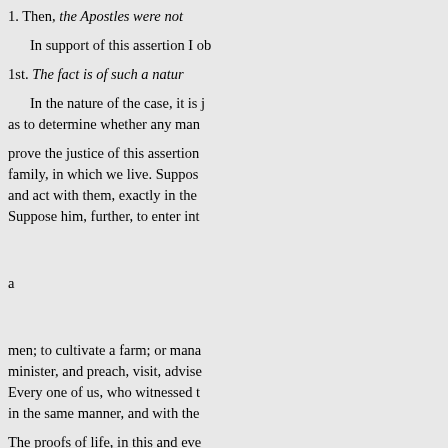1. Then, the Apostles were not
In support of this assertion I ob
1st. The fact is of such a natur
In the nature of the case, it is j as to determine whether any man
prove the justice of this assertion family, in which we live. Suppos and act with them, exactly in the Suppose him, further, to enter int
a
men; to cultivate a farm; or mana minister, and preach, visit, advise Every one of us, who witnessed t in the same manner, and with the
The proofs of life, in this and eve living man. These we discern per proofs, thus furnished, are compl deceived, they can never deceive
As these are complete proofs o